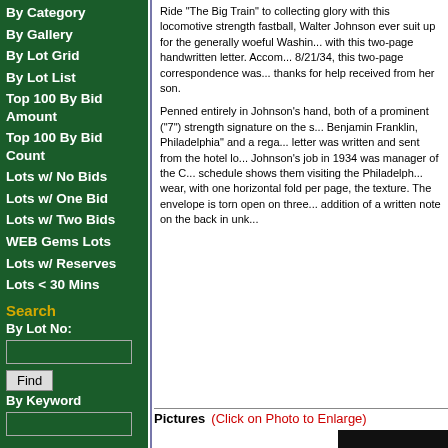By Category
By Gallery
By Lot Grid
By Lot List
Top 100 By Bid Amount
Top 100 By Bid Count
Lots w/ No Bids
Lots w/ One Bid
Lots w/ Two Bids
WEB Gems Lots
Lots w/ Reserves
Lots < 30 Mins
Search
By Lot No:
By Keyword
Ride "The Big Train" to collecting glory with this locomotive strength fastball, Walter Johnson ever suit up for the generally woeful Washin... with this two-page handwritten letter. Accom... 8/21/34, this two-page correspondence was... thanks for help received from her son. Penned entirely in Johnson's hand, both of a prominent ("7") strength signature on the s... Benjamin Franklin, Philadelphia" and a rega... letter was written and sent from the hotel lo... Johnson's job in 1934 was manager of the C... schedule shows them visiting the Philadelph... wear, with one horizontal fold per page, the texture. The envelope is torn open on three... addition of a written note on the back in unk...
Pictures (Click on Photo to Enlarge)